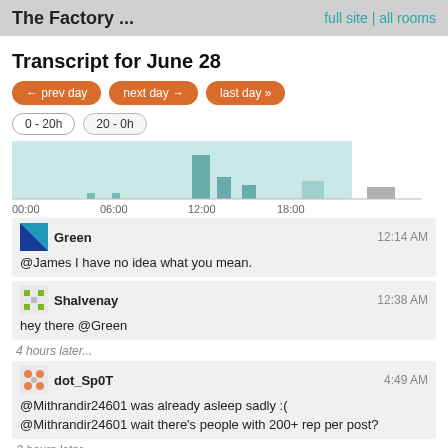The Factory ... | full site | all rooms
Transcript for June 28
← prev day | next day → | last day »
0 - 20h | 20 - 0h
[Figure (bar-chart): Activity chart 00:00 to 18:00+]
Green — 12:14 AM
@James I have no idea what you mean.
Shalvenay — 12:38 AM
hey there @Green
4 hours later...
dot_Sp0T — 4:49 AM
@Mithrandir24601 was already asleep sadly :(
@Mithrandir24601 wait there's people with 200+ rep per post?
2 hours later...
Secespitus — 6:41 AM
@dot_Sp0T probably accepted answers